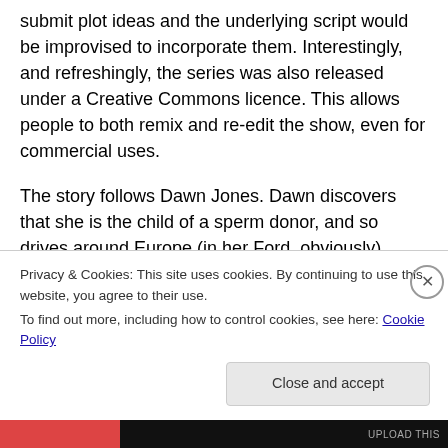submit plot ideas and the underlying script would be improvised to incorporate them. Interestingly, and refreshingly, the series was also released under a Creative Commons licence. This allows people to both remix and re-edit the show, even for commercial uses.
The story follows Dawn Jones. Dawn discovers that she is the child of a sperm donor, and so drives around Europe (in her Ford, obviously) tracking down her siblings.
While an interesting idea, I'm not sure how successful it was. I only saw the first couple of episodes, before
Privacy & Cookies: This site uses cookies. By continuing to use this website, you agree to their use.
To find out more, including how to control cookies, see here: Cookie Policy